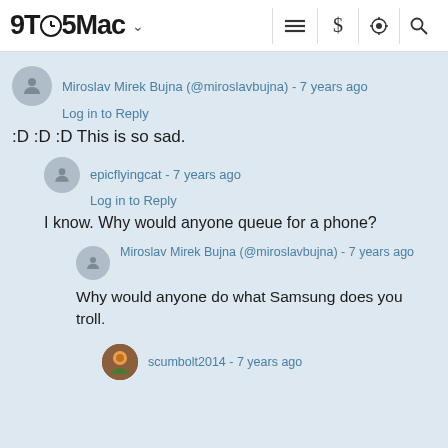9TO5Mac
Miroslav Mirek Bujna (@miroslavbujna) - 7 years ago
Log in to Reply
:D :D :D This is so sad.
epicflyingcat - 7 years ago
Log in to Reply
I know. Why would anyone queue for a phone?
Miroslav Mirek Bujna (@miroslavbujna) - 7 years ago
Why would anyone do what Samsung does you troll.
scumbolt2014 - 7 years ago